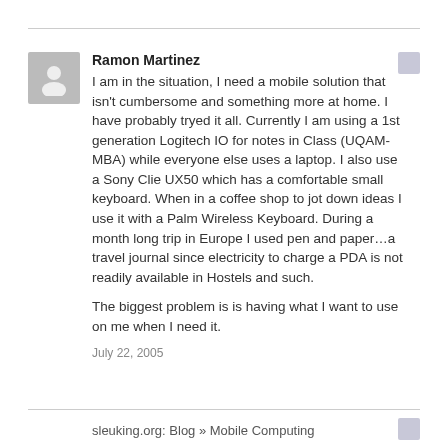Ramon Martinez
I am in the situation, I need a mobile solution that isn't cumbersome and something more at home. I have probably tryed it all. Currently I am using a 1st generation Logitech IO for notes in Class (UQAM-MBA) while everyone else uses a laptop. I also use a Sony Clie UX50 which has a comfortable small keyboard. When in a coffee shop to jot down ideas I use it with a Palm Wireless Keyboard. During a month long trip in Europe I used pen and paper…a travel journal since electricity to charge a PDA is not readily available in Hostels and such.

The biggest problem is is having what I want to use on me when I need it.
July 22, 2005
sleuking.org: Blog » Mobile Computing